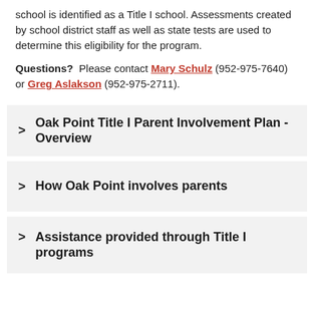school is identified as a Title I school. Assessments created by school district staff as well as state tests are used to determine this eligibility for the program.
Questions?  Please contact Mary Schulz (952-975-7640) or Greg Aslakson (952-975-2711).
Oak Point Title I Parent Involvement Plan - Overview
How Oak Point involves parents
Assistance provided through Title I programs